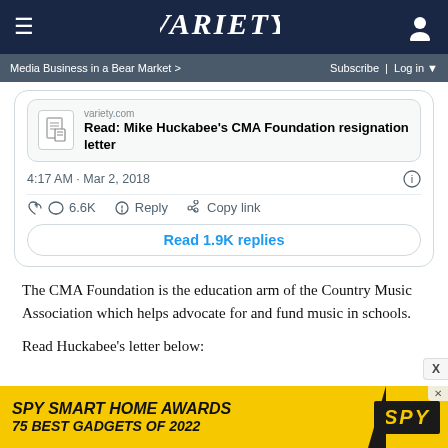Variety
Media Business in a Bear Market > Subscribe | Log in
[Figure (screenshot): Tweet card showing a link to 'Read: Mike Huckabee's CMA Foundation resignation letter', with timestamp 4:17 AM · Mar 2, 2018, 6.6K likes, Reply, Copy link, and Read 1.9K replies button]
The CMA Foundation is the education arm of the Country Music Association which helps advocate for and fund music in schools.
Read Huckabee's letter below:
[Figure (other): Advertisement banner: SPY SMART HOME AWARDS 75 BEST GADGETS OF 2022 with SPY logo on yellow background]